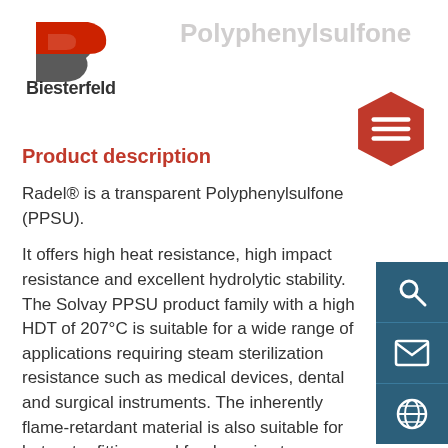[Figure (logo): Biesterfeld company logo with stylized B emblem and bold company name]
Polyphenylsulfone
Product description
Radel® is a transparent Polyphenylsulfone (PPSU).
It offers high heat resistance, high impact resistance and excellent hydrolytic stability. The Solvay PPSU product family with a high HDT of 207°C is suitable for a wide range of applications requiring steam sterilization resistance such as medical devices, dental and surgical instruments. The inherently flame-retardant material is also suitable for hot water fittings and food service trays.